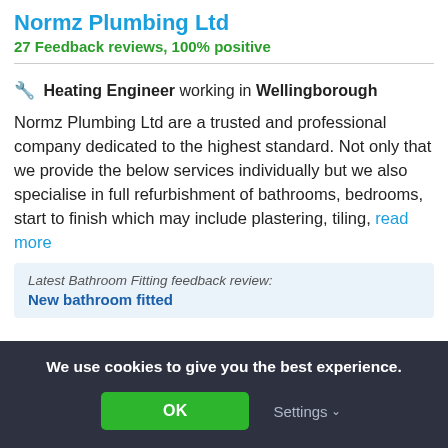Normz Plumbing Ltd
27 Feedback reviews, 100% positive
🔧 Heating Engineer working in Wellingborough
Normz Plumbing Ltd are a trusted and professional company dedicated to the highest standard. Not only that we provide the below services individually but we also specialise in full refurbishment of bathrooms, bedrooms, start to finish which may include plastering, tiling, read more
Latest Bathroom Fitting feedback review:
New bathroom fitted
We use cookies to give you the best experience.